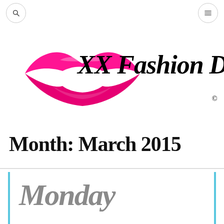Search | Menu
[Figure (logo): XX Fashion Diva logo with pink lips graphic and stylized italic script text 'XX Fashion Diva' with copyright symbol]
Month: March 2015
Monday